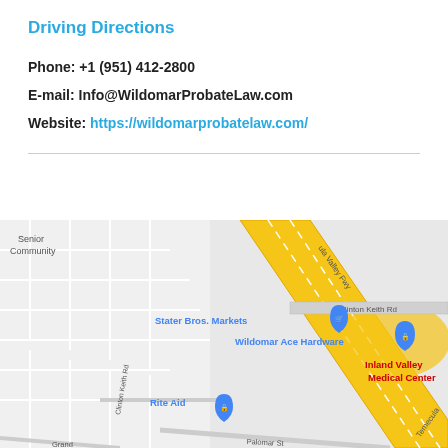Driving Directions
Phone: +1 (951) 412-2800
E-mail: Info@WildomarProbateLaw.com
Website: https://wildomarprobatelaw.com/
[Figure (map): Google Maps screenshot showing area around Wildomar, CA with landmarks including Grocery Outlet, Stater Bros. Markets, Wildomar Ace Hardware, Inland Valley Medical Center, Rite Aid, along the Temecula Valley Fwy (I-15). Streets visible include Clinton Keith Rd, Palomar St, and Grand. A senior community is labeled in the top left.]